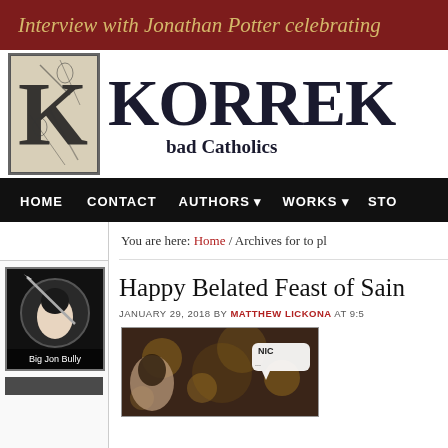Interview with Jonathan Potter celebrating
[Figure (logo): Korrektiv website logo with medieval illuminated K and figures]
KORREKTIV bad Catholics
HOME  CONTACT  AUTHORS  WORKS  STORE
You are here: Home / Archives for to pl
Happy Belated Feast of Sain
JANUARY 29, 2018 BY MATTHEW LICKONA AT 9:5
[Figure (photo): Sidebar avatar image labeled Big Jon Bully, dark circular portrait with sword/scythe motif]
[Figure (photo): Article thumbnail image, bokeh background with speech bubble saying NIC]